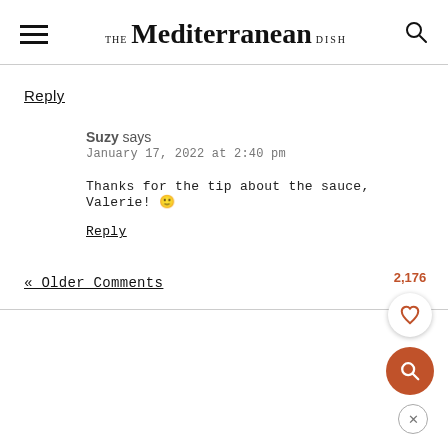THE Mediterranean DISH
Reply
Suzy says
January 17, 2022 at 2:40 pm
Thanks for the tip about the sauce, Valerie! 🙂
Reply
« Older Comments
2,176